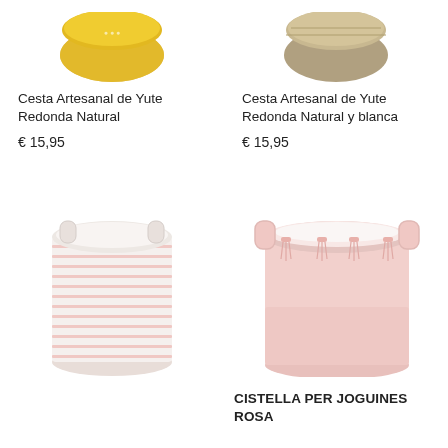[Figure (photo): Top portion of a yellow woven jute basket, cropped at top]
Cesta Artesanal de Yute Redonda Natural
€ 15,95
[Figure (photo): Top portion of a natural and white woven jute basket, cropped at top]
Cesta Artesanal de Yute Redonda Natural y blanca
€ 15,95
[Figure (photo): White and pink striped round fabric basket with two small handles]
[Figure (photo): Pink fabric round basket with pink tassel decorations and handles, toy storage basket]
CISTELLA PER JOGUINES ROSA